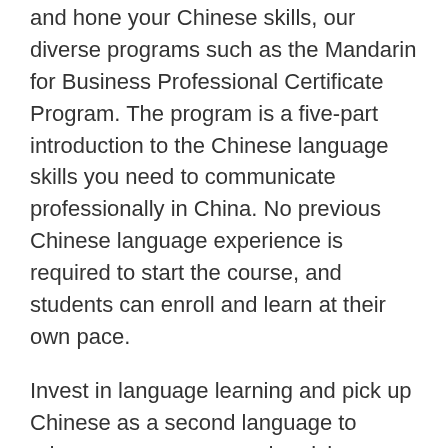and hone your Chinese skills, our diverse programs such as the Mandarin for Business Professional Certificate Program. The program is a five-part introduction to the Chinese language skills you need to communicate professionally in China. No previous Chinese language experience is required to start the course, and students can enroll and learn at their own pace.
Invest in language learning and pick up Chinese as a second language to advance your career and enrich your life. Start with basic Chinese characters and progress through three levels of coursework that combine vocabulary, grammar, and Mandarin conversation training. You will learn basic speaking and listening skills in Mandarin for daily interactions. You will also learn more